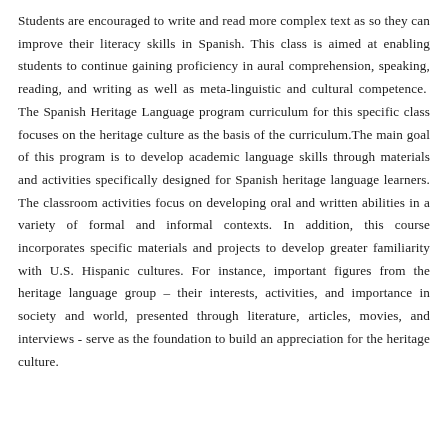Students are encouraged to write and read more complex text as so they can improve their literacy skills in Spanish. This class is aimed at enabling students to continue gaining proficiency in aural comprehension, speaking, reading, and writing as well as meta-linguistic and cultural competence. The Spanish Heritage Language program curriculum for this specific class focuses on the heritage culture as the basis of the curriculum. The main goal of this program is to develop academic language skills through materials and activities specifically designed for Spanish heritage language learners. The classroom activities focus on developing oral and written abilities in a variety of formal and informal contexts. In addition, this course incorporates specific materials and projects to develop greater familiarity with U.S. Hispanic cultures. For instance, important figures from the heritage language group – their interests, activities, and importance in society and world, presented through literature, articles, movies, and interviews - serve as the foundation to build an appreciation for the heritage culture.